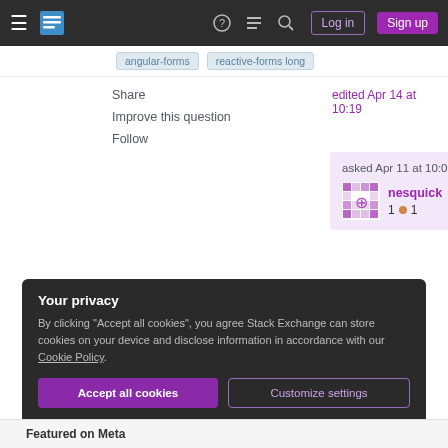Stack Exchange navigation bar with hamburger menu, logo, help, chat, search icons, Log in and Sign up buttons
asked Apr 14 at 10:19 (edited)
Share
Improve this question
Follow
edited Apr 14 at 10:19
asked Apr 11 at 10:00
nesquick
1 ●1
Add a comment
Your privacy
By clicking "Accept all cookies", you agree Stack Exchange can store cookies on your device and disclose information in accordance with our Cookie Policy.
Accept all cookies
Customize settings
Featured on Meta